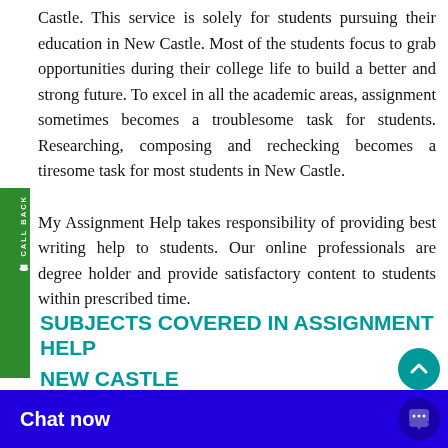Castle. This service is solely for students pursuing their education in New Castle. Most of the students focus to grab opportunities during their college life to build a better and strong future. To excel in all the academic areas, assignment sometimes becomes a troublesome task for students. Researching, composing and rechecking becomes a tiresome task for most students in New Castle. My Assignment Help takes responsibility of providing best writing help to students. Our online professionals are degree holder and provide satisfactory content to students within prescribed time.
SUBJECTS COVERED IN ASSIGNMENT HELP NEW CASTLE
Marketing: It is im...